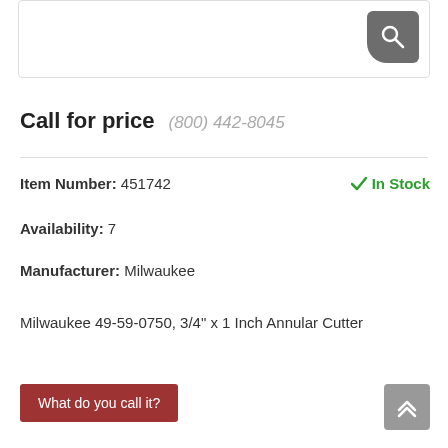[Figure (screenshot): Search box with magnifying glass icon button on the right]
Call for price   (800) 442-8045
Item Number: 451742
In Stock
Availability: 7
Manufacturer: Milwaukee
Milwaukee 49-59-0750, 3/4" x 1 Inch Annular Cutter
What do you call it?